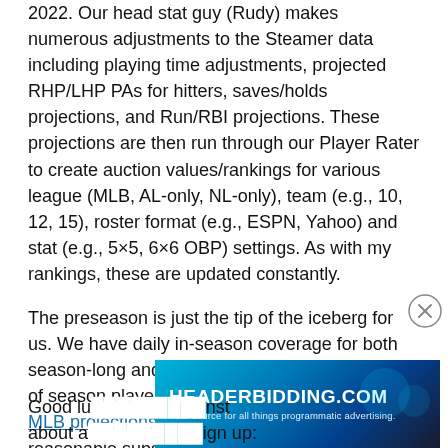2022. Our head stat guy (Rudy) makes numerous adjustments to the Steamer data including playing time adjustments, projected RHP/LHP PAs for hitters, saves/holds projections, and Run/RBI projections. These projections are then run through our Player Rater to create auction values/rankings for various league (MLB, AL-only, NL-only), team (e.g., 10, 12, 15), roster format (e.g., ESPN, Yahoo) and stat (e.g., 5×5, 6×6 OBP) settings. As with my rankings, these are updated constantly.
The preseason is just the tip of the iceberg for us. We have daily in-season coverage for both season-long and DFS, season to date and rest of season player raters, and daily and weekly MLB projections/tools (available at an extremely reasonable subscription). We also have a really active community here (as you'll see by the comments on every post).
[Figure (other): HEADERBIDDING.COM advertisement banner — teal/blue gradient background with white bold text 'HEADERBIDDING.COM' and subtitle 'Your source for all things programmatic advertising.']
Good lu... nst about a... sign up: